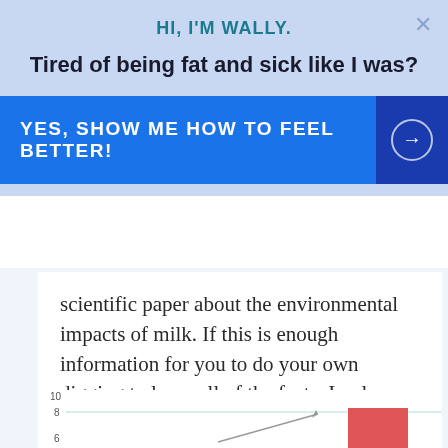HI, I'M WALLY.
Tired of being fat and sick like I was?
YES, SHOW ME HOW TO FEEL BETTER!
scientific paper about the environmental impacts of milk. If this is enough information for you to do your own digging to learn all of the facts, I only am trying to play a tiny part in that.
[Figure (continuous-plot): Partial bar/line chart visible at bottom of page, y-axis showing values up to 10, with a red bar and a line with arrow visible]